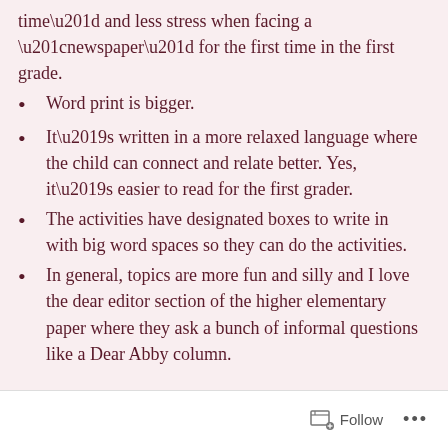time” and less stress when facing a “newspaper” for the first time in the first grade.
Word print is bigger.
It’s written in a more relaxed language where the child can connect and relate better. Yes, it’s easier to read for the first grader.
The activities have designated boxes to write in with big word spaces so they can do the activities.
In general, topics are more fun and silly and I love the dear editor section of the higher elementary paper where they ask a bunch of informal questions like a Dear Abby column.
Follow ...